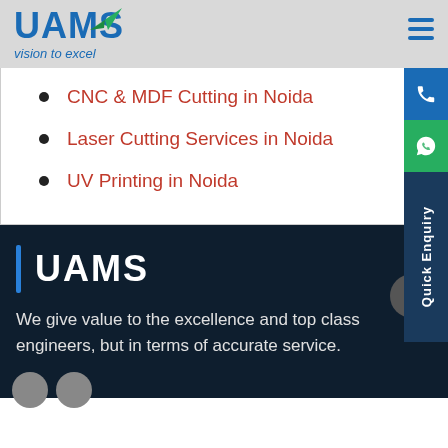[Figure (logo): UAMS logo with blue text and green paper plane arrow, tagline 'vision to excel']
CNC & MDF Cutting in Noida
Laser Cutting Services in Noida
UV Printing in Noida
[Figure (infographic): Side tab with phone icon (blue), WhatsApp icon (green), and vertical 'Quick Enquiry' label on dark navy background]
UAMS
We give value to the excellence and top class engineers, but in terms of accurate service.